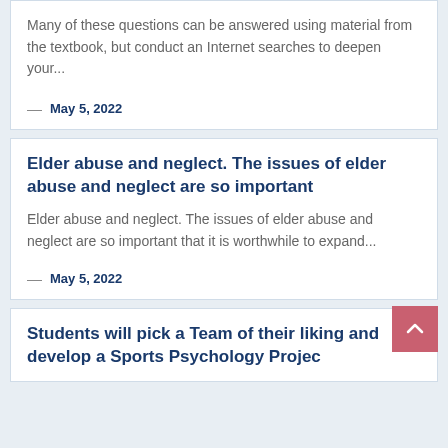Many of these questions can be answered using material from the textbook, but conduct an Internet searches to deepen your...
— May 5, 2022
Elder abuse and neglect. The issues of elder abuse and neglect are so important
Elder abuse and neglect. The issues of elder abuse and neglect are so important that it is worthwhile to expand...
— May 5, 2022
Students will pick a Team of their liking and develop a Sports Psychology Projec